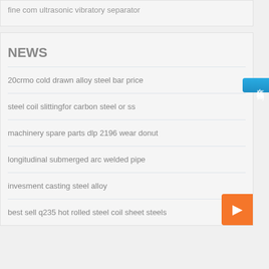fine com ultrasonic vibratory separator
NEWS
20crmo cold drawn alloy steel bar price
steel coil slittingfor carbon steel or ss
machinery spare parts dlp 2196 wear donut
longitudinal submerged arc welded pipe
invesment casting steel alloy
best sell q235 hot rolled steel coil sheet steels